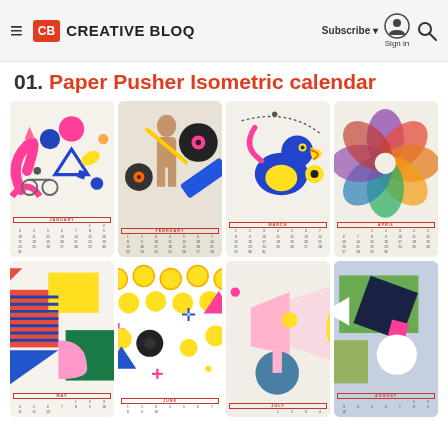Creative Bloq — Subscribe | Sign in | Search
01. Paper Pusher Isometric calendar
[Figure (photo): Grid of 8 Paper Pusher Isometric calendar cards for months January through August, each featuring colorful abstract geometric illustrations above a small calendar grid. Top row: January (abstract shapes with pink arc, triangles, bicycle), February (figure with vinyl records and blue diagonal), March (toucan-like bird in yellow and blue), April (color wheel flower in purple, orange, green). Bottom row: May (geometric shapes in red, yellow, blue, green), June (pattern of yellow circles, pink and blue shapes on white), July (pink megaphone/projector with teal sphere), August (geometric shapes on blue-grey background).]